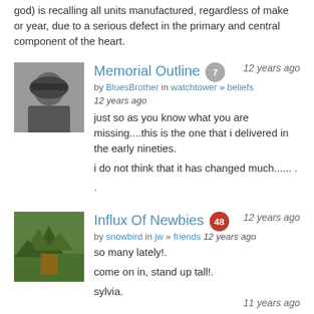god) is recalling all units manufactured, regardless of make or year, due to a serious defect in the primary and central component of the heart.
Memorial Outline
by BluesBrother in watchtower » beliefs 12 years ago
12 years ago
just so as you know what you are missing....this is the one that i delivered in the early nineties.
i do not think that it has changed much...... .
.
Influx Of Newbies
by snowbird in jw » friends 12 years ago
so many lately!.
come on in, stand up tall!.
sylvia.
Brand New: Currently Totally Devastated